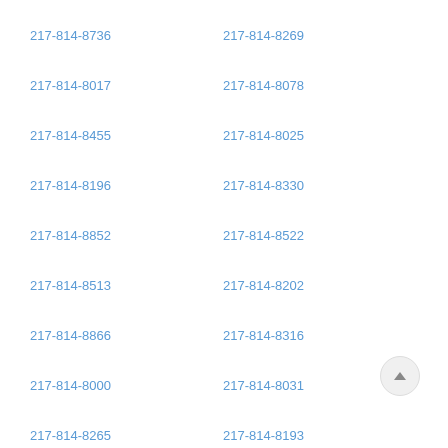217-814-8736
217-814-8269
217-814-8017
217-814-8078
217-814-8455
217-814-8025
217-814-8196
217-814-8330
217-814-8852
217-814-8522
217-814-8513
217-814-8202
217-814-8866
217-814-8316
217-814-8000
217-814-8031
217-814-8265
217-814-8193